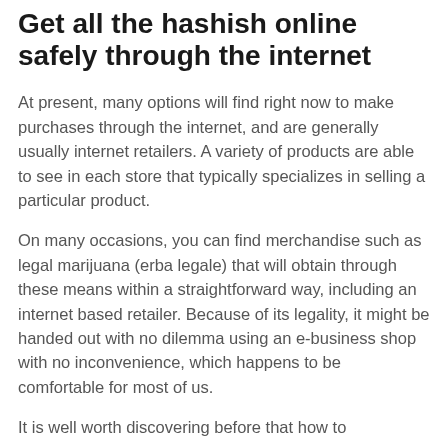Get all the hashish online safely through the internet
At present, many options will find right now to make purchases through the internet, and are generally usually internet retailers. A variety of products are able to see in each store that typically specializes in selling a particular product.
On many occasions, you can find merchandise such as legal marijuana (erba legale) that will obtain through these means within a straightforward way, including an internet based retailer. Because of its legality, it might be handed out with no dilemma using an e-business shop with no inconvenience, which happens to be comfortable for most of us.
It is well worth discovering before that how to...